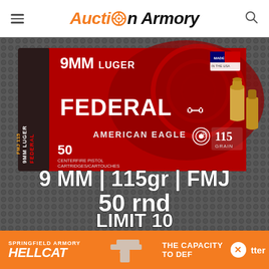Auction Armory
[Figure (photo): Federal American Eagle 9MM Luger 115gr FMJ 50-round box of ammunition on a grey textured background, with bold white text overlay reading '9 MM | 115gr | FMJ 50 rnd LIMIT 10']
[Figure (advertisement): Springfield Armory Hellcat advertisement banner with orange background, gun image, and text 'THE CAPACITY TO DEF...' with a close button]